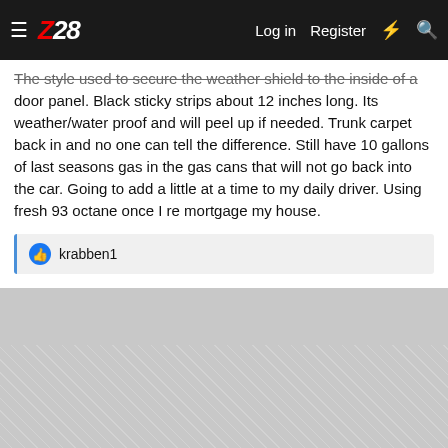Z28 forum navigation bar with logo, Log in, Register, and icons
The style used to secure the weather shield to the inside of a door panel. Black sticky strips about 12 inches long. Its weather/water proof and will peel up if needed. Trunk carpet back in and no one can tell the difference. Still have 10 gallons of last seasons gas in the gas cans that will not go back into the car. Going to add a little at a time to my daily driver. Using fresh 93 octane once I re mortgage my house.
krabben1